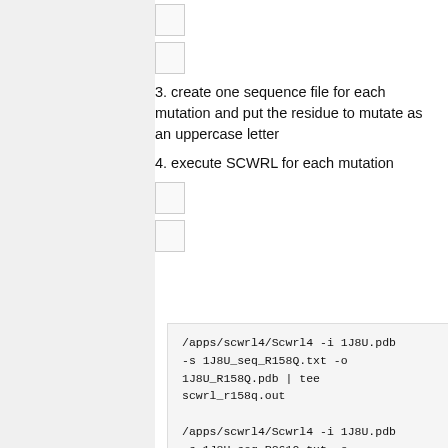[Figure (other): Small empty box placeholder 1]
[Figure (other): Small empty box placeholder 2]
3. create one sequence file for each mutation and put the residue to mutate as an uppercase letter
4. execute SCWRL for each mutation
[Figure (other): Small empty box placeholder 3]
[Figure (other): Small empty box placeholder 4]
/apps/scwrl4/Scwrl4 -i 1J8U.pdb -s 1J8U_seq_R158Q.txt -o 1J8U_R158Q.pdb | tee scwrl_r158q.out

/apps/scwrl4/Scwrl4 -i 1J8U.pdb -s 1J8U_seq_R261Q.txt -o 1J8U_R261Q.pdb | tee scwrl_r261q.out

/apps/scwrl4/Scwrl4 -i 1J8U.pdb -s 1J8U_seq_T266A.txt -o 1J8U_T266A.pdb | tee scwrl_t266a.out

/apps/scwrl4/Scwrl4 -i 1J8U.pdb -s 1J8U_seq_P275S.txt -o